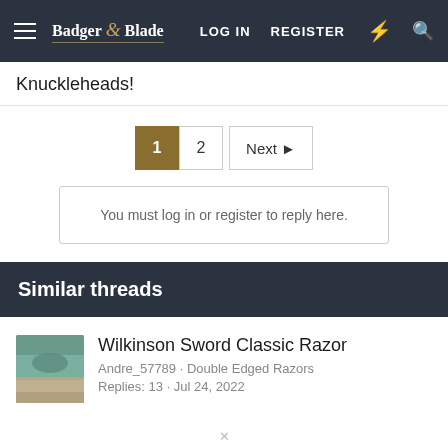Badger & Blade | LOG IN  REGISTER
Knuckleheads!
Pagination: 1  2  Next ▶
You must log in or register to reply here.
Similar threads
Wilkinson Sword Classic Razor
Andre_57789 · Double Edged Razors
Replies: 13 · Jul 24, 2022